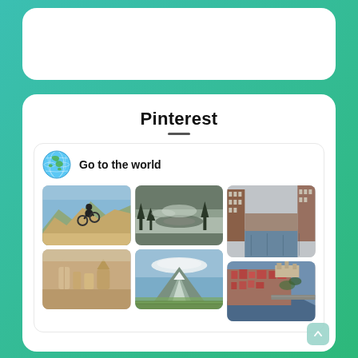Pinterest
Go to the world
[Figure (photo): Pinterest board showing six travel photos: mountain biker in desert canyon, misty volcanic crater, flooded European street, sand sculptures on beach, mountain with lenticular cloud, aerial city view with river bridge.]